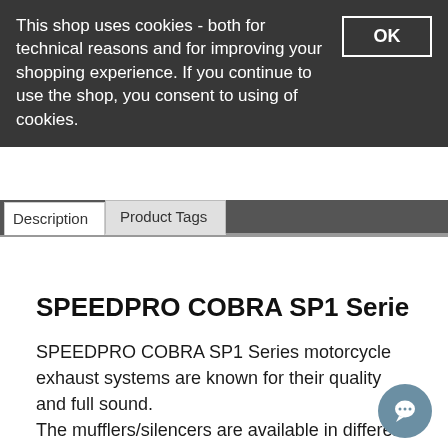This shop uses cookies - both for technical reasons and for improving your shopping experience. If you continue to use the shop, you consent to using of cookies.
Description   Product Tags
SPEEDPRO COBRA SP1 Serie
SPEEDPRO COBRA SP1 Series motorcycle exhaust systems are known for their quality and full sound.
The mufflers/silencers are available in different length, materials and shapes.
More features are:
- Made in Germany